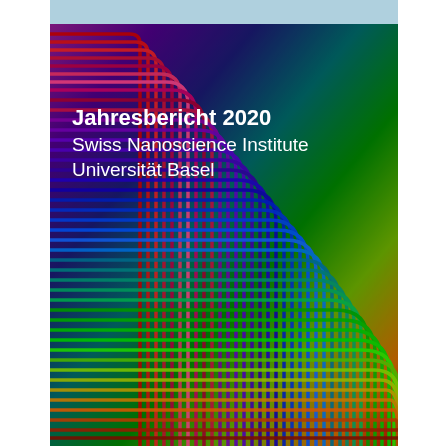[Figure (illustration): Cover page of the Swiss Nanoscience Institute Jahresbericht 2020. The image shows a colorful abstract pattern of concentric U-shaped lines forming a rainbow gradient from red at the lower-left corner through orange, yellow-green, green, teal, blue, purple, and pink/red at the top-left, creating a visually striking cover design.]
Jahresbericht 2020
Swiss Nanoscience Institute
Universität Basel